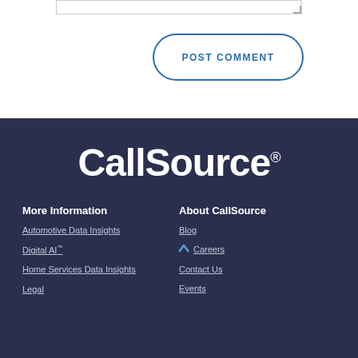[Figure (other): Text input textarea with resize handle in bottom-right corner]
POST COMMENT
[Figure (logo): CallSource logo in white text on dark navy background with registered trademark symbol]
More Information
About CallSource
Automotive Data Insights
Blog
Digital AI™
Careers
Home Services Data Insights
Contact Us
Legal
Events